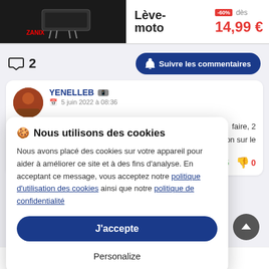[Figure (illustration): Advertisement banner for a motorcycle lift (Lève-moto) with a product image on dark background, showing -60% discount, starting at 14,99 €]
2
Suivre les commentaires
YENELLEB
5 juin 2022 à 08:36
...faire, 2 ...aison sur le
👍 5   👎 0
Nous utilisons des cookies
Nous avons placé des cookies sur votre appareil pour aider à améliorer ce site et à des fins d'analyse. En acceptant ce message, vous acceptez notre politique d'utilisation des cookies ainsi que notre politique de confidentialité
J'accepte
Personalize
Retraités !!! Ils sont complètement dans le coup les